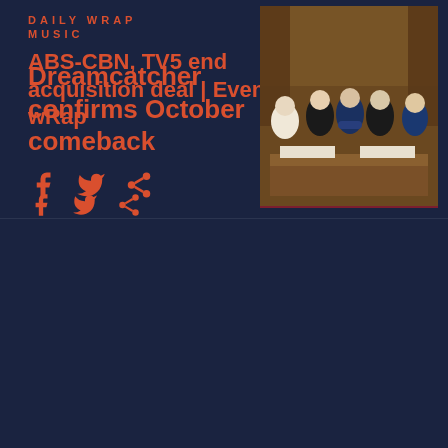MUSIC
Dreamcatcher confirms October comeback
[Figure (photo): Group photo of Dreamcatcher K-pop girl group members in black outfits posed together]
DAILY WRAP
ABS-CBN, TV5 end acquisition deal | Evening wRap
[Figure (photo): Formal press conference photo showing several suited men shaking hands at a table]